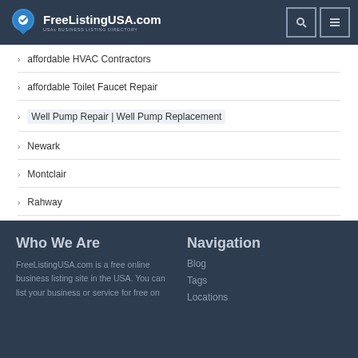[Figure (logo): FreeListingUSA.com logo with location pin icon and text 'USAs BUSINESS LISTING DIRECTORY']
affordable HVAC Contractors
affordable Toilet Faucet Repair
Well Pump Repair | Well Pump Replacement
Newark
Montclair
Rahway
Who We Are
FreeListingUSA.com is a free online business listing site in the USA. You can list your business or service for free on
Navigation
Blog
Tags
Locations